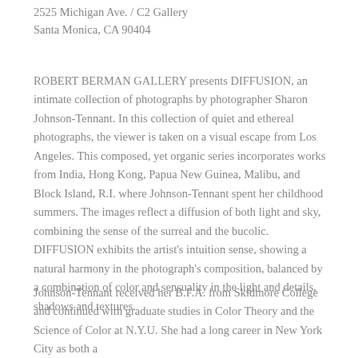2525 Michigan Ave. / C2 Gallery
Santa Monica, CA 90404
ROBERT BERMAN GALLERY presents DIFFUSION, an intimate collection of photographs by photographer Sharon Johnson-Tennant. In this collection of quiet and ethereal photographs, the viewer is taken on a visual escape from Los Angeles. This composed, yet organic series incorporates works from India, Hong Kong, Papua New Guinea, Malibu, and Block Island, R.I. where Johnson-Tennant spent her childhood summers. The images reflect a diffusion of both light and sky, combining the sense of the surreal and the bucolic. DIFFUSION exhibits the artist's intuition sense, showing a natural harmony in the photograph's composition, balanced by a combination of color and sensuality in the light and details, shadows and textures.
Johnson-Tennant received her B.F.A. from Skidmore College and continued with graduate studies in Color Theory and the Science of Color at N.Y.U. She had a long career in New York City as both a